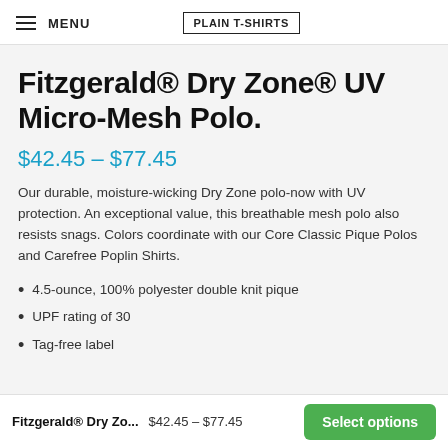MENU | PLAIN T-SHIRTS
Fitzgerald® Dry Zone® UV Micro-Mesh Polo.
$42.45 – $77.45
Our durable, moisture-wicking Dry Zone polo-now with UV protection. An exceptional value, this breathable mesh polo also resists snags. Colors coordinate with our Core Classic Pique Polos and Carefree Poplin Shirts.
4.5-ounce, 100% polyester double knit pique
UPF rating of 30
Tag-free label
Fitzgerald® Dry Zo...  $42.45 – $77.45  Select options